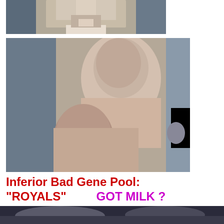[Figure (photo): Partial photo of a man in a suit and tie, cropped at top of page]
[Figure (photo): Photo of two people, one holding the other, appearing to be a screen capture or photograph]
Inferior Bad Gene Pool: "ROYALS"   GOT MILK  ?
[Figure (photo): Partial photo at bottom of page, cropped]